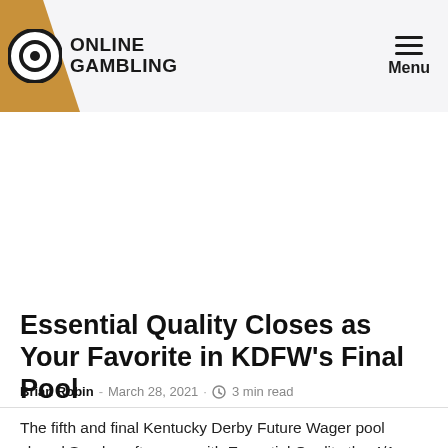ONLINE GAMBLING — Menu
[Figure (other): Advertisement/blank white space placeholder area]
Essential Quality Closes as Your Favorite in KDFW's Final Pool
Brian Robin - March 28, 2021 · 3 min read
The fifth and final Kentucky Derby Future Wager pool closed Sunday afternoon with Essential Quality the 4/1 favorite to win the May 1 Run for the Roses. Unbeaten Essential Quality